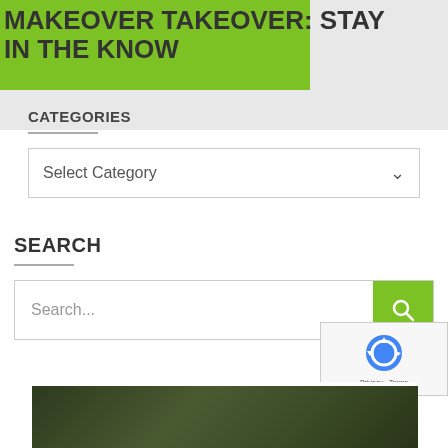MAKEOVER TAKEOVER: STAY IN THE KNOW
CATEGORIES
Select Category
SEARCH
Search...
[Figure (screenshot): reCAPTCHA badge widget in bottom right corner with blue recycling arrows logo and Privacy - Terms text]
[Figure (photo): Partial view of a garden or landscape photo at the bottom of the page]